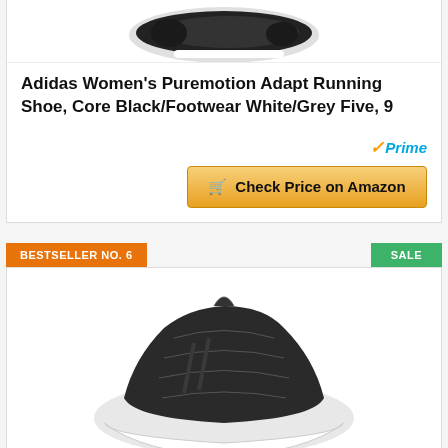[Figure (photo): Top portion of Adidas Women's Puremotion Adapt running shoe in black/white, viewed from above]
Adidas Women's Puremotion Adapt Running Shoe, Core Black/Footwear White/Grey Five, 9
[Figure (logo): Amazon Prime badge with checkmark and 'Prime' text in blue]
Check Price on Amazon
BESTSELLER NO. 6
SALE
[Figure (photo): Adidas running shoe in dark grey/black with white sole, viewed from the side at an angle]